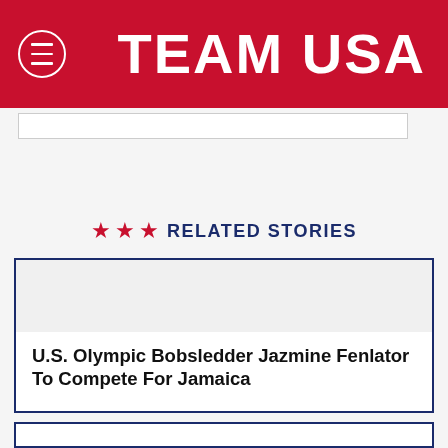TEAM USA
SIGN UP FOR TEAMUSA UPDATES
RELATED STORIES
U.S. Olympic Bobsledder Jazmine Fenlator To Compete For Jamaica